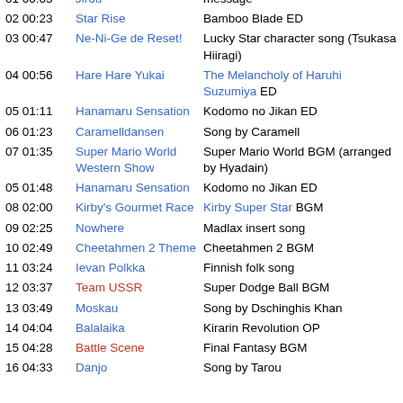01 00:05 Jirou | message
02 00:23 Star Rise | Bamboo Blade ED
03 00:47 Ne-Ni-Ge de Reset! | Lucky Star character song (Tsukasa Hiiragi)
04 00:56 Hare Hare Yukai | The Melancholy of Haruhi Suzumiya ED
05 01:11 Hanamaru Sensation | Kodomo no Jikan ED
06 01:23 Caramelldansen | Song by Caramell
07 01:35 Super Mario World Western Show | Super Mario World BGM (arranged by Hyadain)
05 01:48 Hanamaru Sensation | Kodomo no Jikan ED
08 02:00 Kirby's Gourmet Race | Kirby Super Star BGM
09 02:25 Nowhere | Madlax insert song
10 02:49 Cheetahmen 2 Theme | Cheetahmen 2 BGM
11 03:24 Ievan Polkka | Finnish folk song
12 03:37 Team USSR | Super Dodge Ball BGM
13 03:49 Moskau | Song by Dschinghis Khan
14 04:04 Balalaika | Kirarin Revolution OP
15 04:28 Battle Scene | Final Fantasy BGM
16 04:33 Danjo | Song by Tarou